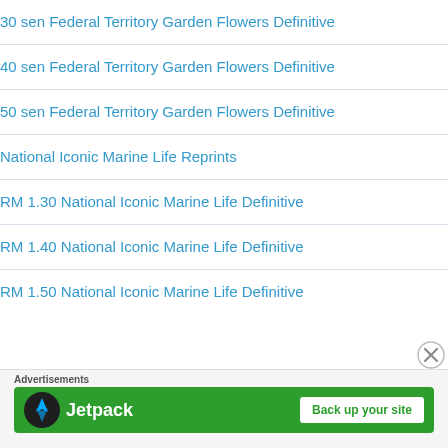30 sen Federal Territory Garden Flowers Definitive
40 sen Federal Territory Garden Flowers Definitive
50 sen Federal Territory Garden Flowers Definitive
National Iconic Marine Life Reprints
RM 1.30 National Iconic Marine Life Definitive
RM 1.40 National Iconic Marine Life Definitive
RM 1.50 National Iconic Marine Life Definitive
Advertisements
[Figure (illustration): Jetpack advertisement banner with green background, Jetpack logo icon, bold white Jetpack text, and white 'Back up your site' button]